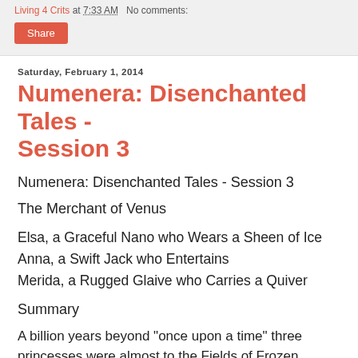Living 4 Crits at 7:33 AM   No comments:
Share
Saturday, February 1, 2014
Numenera: Disenchanted Tales - Session 3
Numenera: Disenchanted Tales - Session 3
The Merchant of Venus
Elsa, a Graceful Nano who Wears a Sheen of Ice
Anna, a Swift Jack who Entertains
Merida, a Rugged Glaive who Carries a Quiver
Summary
A billion years beyond "once upon a time" three princesses were almost to the Fields of Frozen Flowers, in the hopes of finding their dear friend and cryo-mutant Olaf unharmed. The